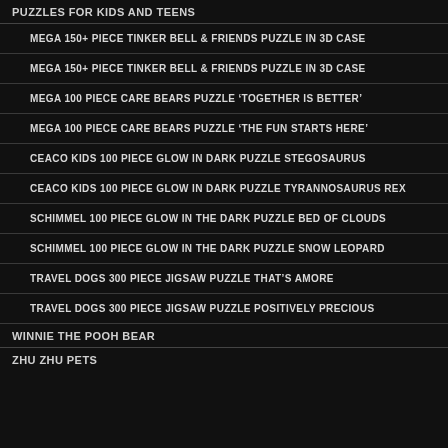PUZZLES FOR KIDS AND TEENS
MEGA 150+ PIECE TINKER BELL & FRIENDS PUZZLE IN 3D CASE
MEGA 150+ PIECE TINKER BELL & FRIENDS PUZZLE IN 3D CASE
MEGA 100 PIECE CARE BEARS PUZZLE ‘TOGETHER IS BETTER’
MEGA 100 PIECE CARE BEARS PUZZLE ‘THE FUN STARTS HERE’
CEACO KIDS 100 PIECE GLOW IN DARK PUZZLE STEGOSAURUS
CEACO KIDS 100 PIECE GLOW IN DARK PUZZLE TYRANNOSAURUS REX
SCHIMMEL 100 PIECE GLOW IN THE DARK PUZZLE BED OF CLOUDS
SCHIMMEL 100 PIECE GLOW IN THE DARK PUZZLE SNOW LEOPARD
TRAVEL DOGS 300 PIECE JIGSAW PUZZLE THAT’S AMORE
TRAVEL DOGS 300 PIECE JIGSAW PUZZLE POSITIVELY PRECIOUS
WINNIE THE POOH BEAR
ZHU ZHU PETS